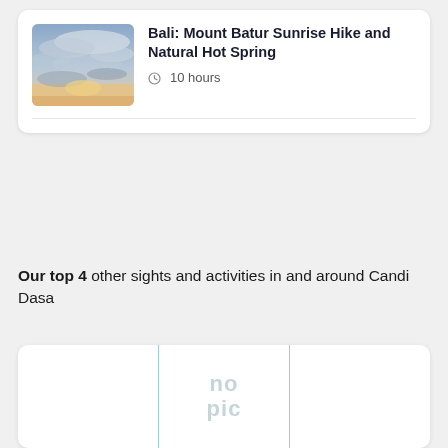[Figure (photo): Sunrise/sky photo used as thumbnail for Bali Mount Batur Sunrise Hike card]
Bali: Mount Batur Sunrise Hike and Natural Hot Spring
10 hours
Our top 4 other sights and activities in and around Candi Dasa
[Figure (photo): Placeholder image with 'no pic' text shown in a teal-bordered box]